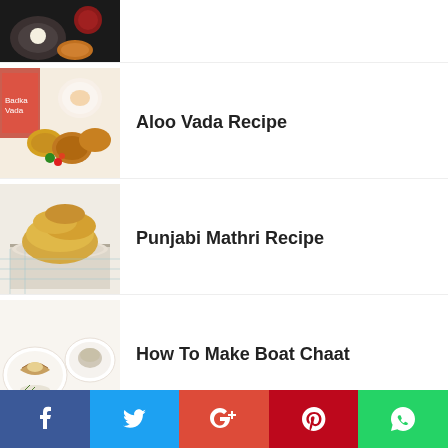[Figure (photo): Partial top image of a dark-background food item with small white bowl]
Aloo Vada Recipe
[Figure (photo): Aloo Vada recipe image with tea mug and fried food items]
Punjabi Mathri Recipe
[Figure (photo): Punjabi Mathri in a round container on blue cloth]
How To Make Boat Chaat
[Figure (photo): Boat Chaat served on white plates]
How To Make Khoba Roti
[Figure (photo): Khoba Roti with curry in a bowl]